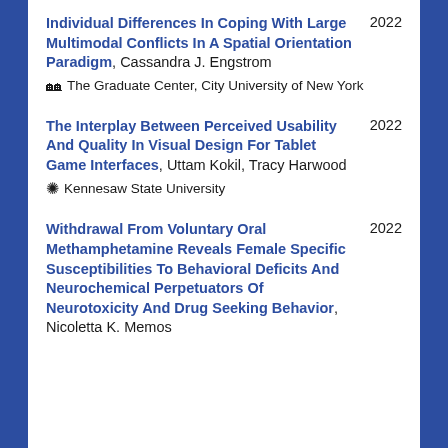Individual Differences In Coping With Large Multimodal Conflicts In A Spatial Orientation Paradigm, Cassandra J. Engstrom — The Graduate Center, City University of New York — 2022
The Interplay Between Perceived Usability And Quality In Visual Design For Tablet Game Interfaces, Uttam Kokil, Tracy Harwood — Kennesaw State University — 2022
Withdrawal From Voluntary Oral Methamphetamine Reveals Female Specific Susceptibilities To Behavioral Deficits And Neurochemical Perpetuators Of Neurotoxicity And Drug Seeking Behavior, Nicoletta K. Memos — 2022